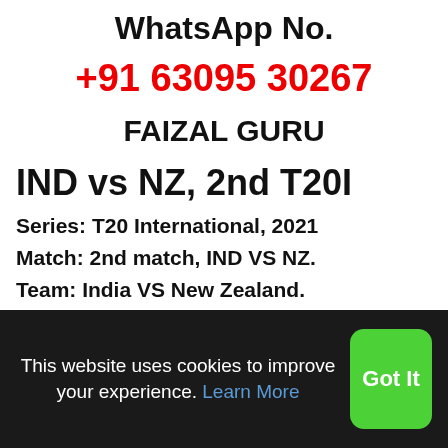WhatsApp No.
+91 63095 30267
FAIZAL GURU
IND vs NZ, 2nd T20I
Series: T20 International, 2021
Match: 2nd match, IND VS NZ.
Team: India VS New Zealand.
This website uses cookies to improve your experience. Learn More
Got It